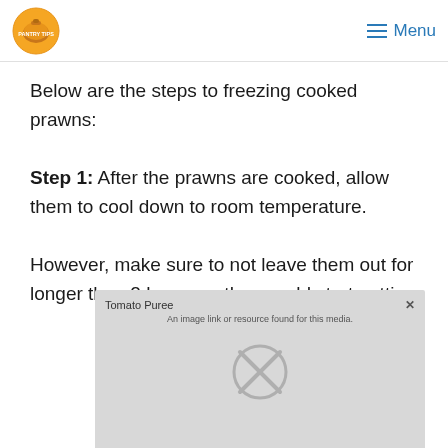PANTRY TIPS | Menu
Below are the steps to freezing cooked prawns:
Step 1: After the prawns are cooked, allow them to cool down to room temperature.
However, make sure to not leave them out for longer than 2 hours as they could start getting
[Figure (other): Advertisement overlay showing 'Tomato Puree' ad with a close button and media attribution text, displayed over the article content. Contains an X/close icon graphic.]